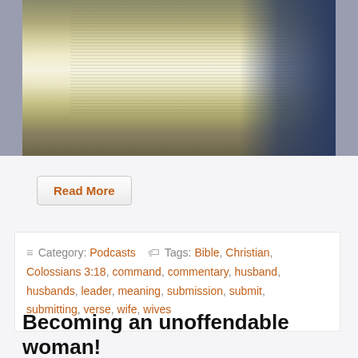[Figure (photo): Open Bible being held, pages spread open, warm golden/cream tones, with blue denim fabric visible on the right side]
Read More
≡ Category: Podcasts  🏷 Tags: Bible, Christian, Colossians 3:18, command, commentary, husband, husbands, leader, meaning, submission, submit, submitting, verse, wife, wives
Becoming an unoffendable woman! (podcast)